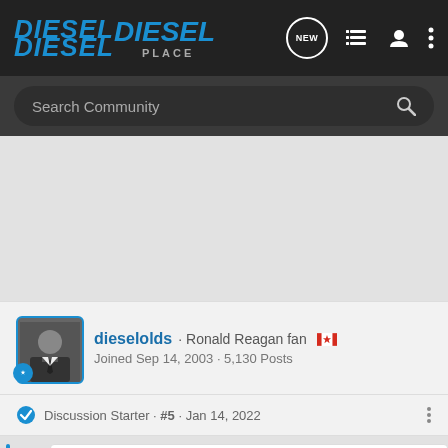[Figure (logo): Diesel Place forum logo — blue and white text on dark background]
Search Community
dieselolds · Ronald Reagan fan 🇨🇦
Joined Sep 14, 2003 · 5,130 Posts
Discussion Starter · #5 · Jan 14, 2022
[Figure (screenshot): Capital One advertisement: Java, Python, Go – we understand your language.]
vr196…